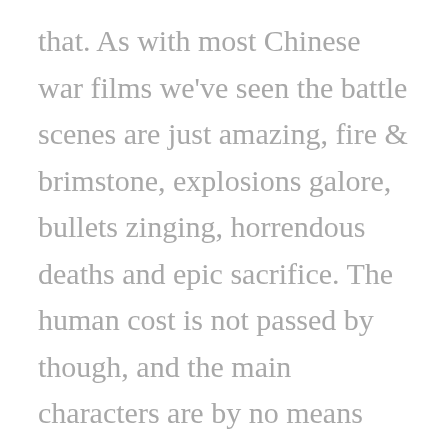that. As with most Chinese war films we've seen the battle scenes are just amazing, fire & brimstone, explosions galore, bullets zinging, horrendous deaths and epic sacrifice. The human cost is not passed by though, and the main characters are by no means one dimensional, the inscrutibilty sometimes ascribed to Chinese people is not on show here, they